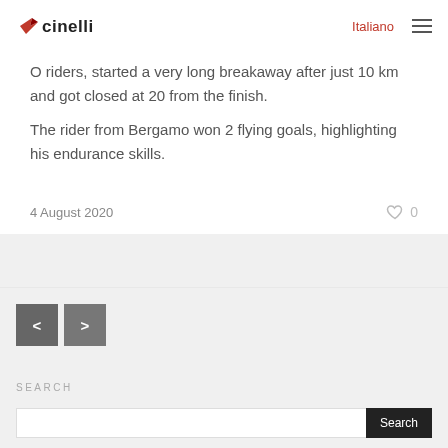Cinelli — Italiano
O riders, started a very long breakaway after just 10 km and got closed at 20 from the finish. The rider from Bergamo won 2 flying goals, highlighting his endurance skills.
4 August 2020   ♡ 0
< >
SEARCH
Search